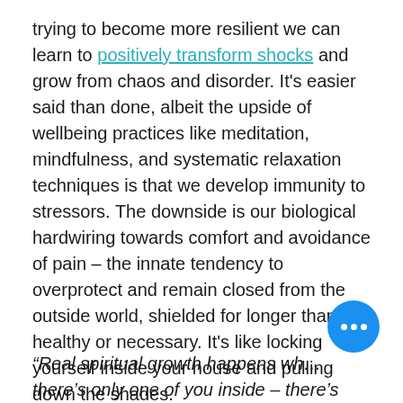trying to become more resilient we can learn to positively transform shocks and grow from chaos and disorder. It's easier said than done, albeit the upside of wellbeing practices like meditation, mindfulness, and systematic relaxation techniques is that we develop immunity to stressors. The downside is our biological hardwiring towards comfort and avoidance of pain – the innate tendency to overprotect and remain closed from the outside world, shielded for longer than is healthy or necessary. It's like locking yourself inside your house and pulling down the shades.
“Real spiritual growth happens wh... there's only one of you inside – there's